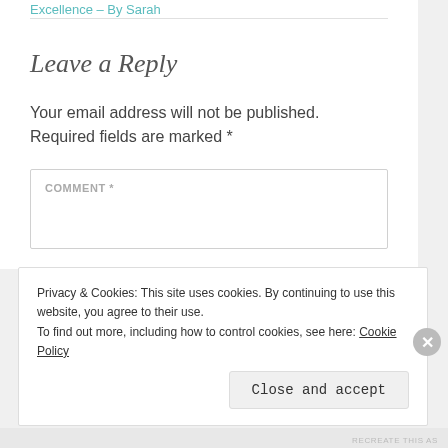Excellence – By Sarah
Leave a Reply
Your email address will not be published. Required fields are marked *
COMMENT *
Privacy & Cookies: This site uses cookies. By continuing to use this website, you agree to their use.
To find out more, including how to control cookies, see here: Cookie Policy
Close and accept
RECREATE THIS AS